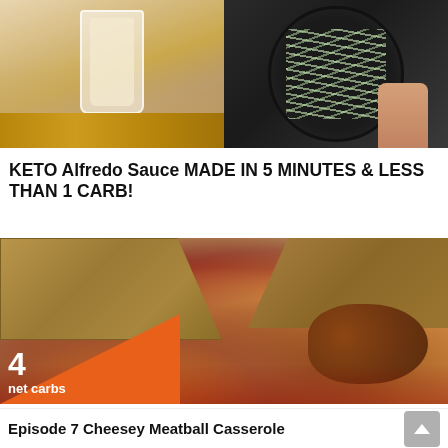[Figure (photo): Two food photos side by side at top: left shows a glass jar of creamy sauce on a wooden surface; right shows a black plate with noodles/zoodles held by hand]
KETO Alfredo Sauce MADE IN 5 MINUTES & LESS THAN 1 CARB!
[Figure (photo): Close-up photo of a meatball casserole dish with bread slices on top, covered in tomato sauce, with an orange triangle badge in the lower-left corner showing '4 net carbs']
4 net carbs
Episode 7 Cheesey Meatball Casserole